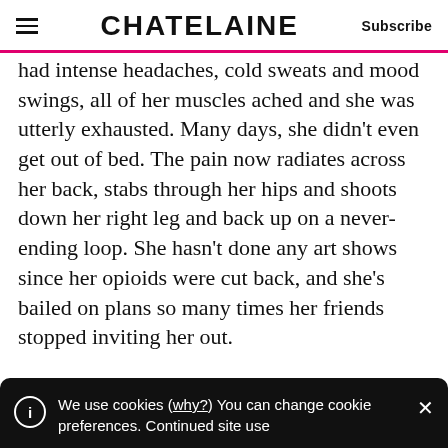CHATELAINE | Subscribe
had intense headaches, cold sweats and mood swings, all of her muscles ached and she was utterly exhausted. Many days, she didn't even get out of bed. The pain now radiates across her back, stabs through her hips and shoots down her right leg and back up on a never-ending loop. She hasn't done any art shows since her opioids were cut back, and she's bailed on plans so many times her friends stopped inviting her out.
We use cookies (why?) You can change cookie preferences. Continued site use